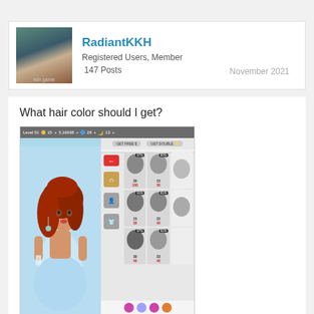RadiantKKH
Registered Users, Member
147 Posts
November 2021
What hair color should I get?
[Figure (screenshot): Two screenshots of a mobile fashion game (Kim Kardashian Hollywood) showing a character with red hair and then dark/brown hair, alongside a hair style shop interface with various hair options and prices]